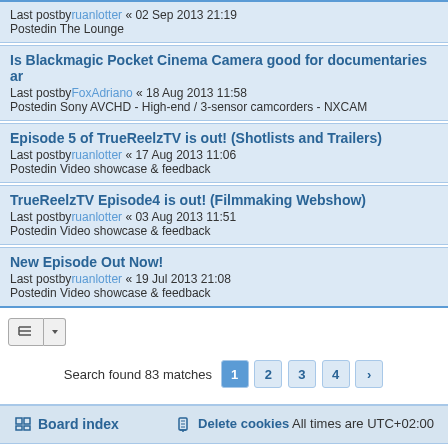Last postby ruanlotter « 02 Sep 2013 21:19
Postedin The Lounge
Is Blackmagic Pocket Cinema Camera good for documentaries ar
Last postby FoxAdriano « 18 Aug 2013 11:58
Postedin Sony AVCHD - High-end / 3-sensor camcorders - NXCAM
Episode 5 of TrueReelzTV is out! (Shotlists and Trailers)
Last postby ruanlotter « 17 Aug 2013 11:06
Postedin Video showcase & feedback
TrueReelzTV Episode4 is out! (Filmmaking Webshow)
Last postby ruanlotter « 03 Aug 2013 11:51
Postedin Video showcase & feedback
New Episode Out Now!
Last postby ruanlotter « 19 Jul 2013 21:08
Postedin Video showcase & feedback
Search found 83 matches  1 2 3 4 >
Board index   Delete cookies   All times are UTC+02:00
Powered by phpBB® Forum Software © phpBB Limited
Privacy | Terms